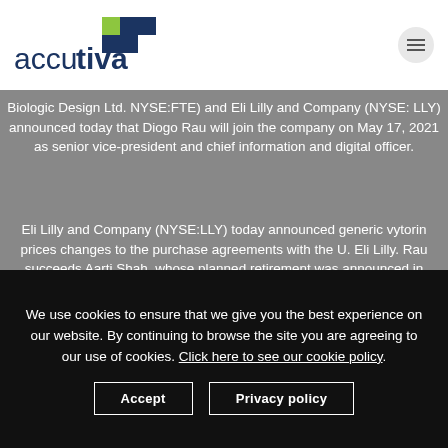[Figure (logo): Accutiva logo with navy blue text and a cross/plus symbol in navy and lime green]
Biologic Design Ltd. NYSE:FTE) and Eli Lilly and Company (NYSE: LLY) announced today that Diogo Rau will join the company on May 17, 2021 as senior vice-president and chief information and digital officer.
Eli Lilly and Company (NYSE:LLY) today announced generic vytorin prices changes to the purchase agreements with the U. Eli Lilly. Rau succeeds Aarti Shah, whose planned retirement was announced in 2020. Eli Lilly and Company (NYSE: LLY) will participate in the first
We use cookies to ensure that we give you the best experience on our website. By continuing to browse the site you are agreeing to our use of cookies. Click here to see our cookie policy.